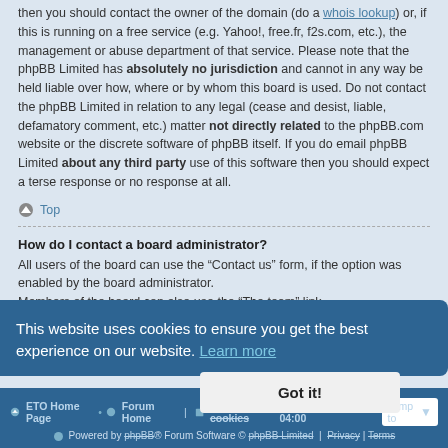then you should contact the owner of the domain (do a whois lookup) or, if this is running on a free service (e.g. Yahoo!, free.fr, f2s.com, etc.), the management or abuse department of that service. Please note that the phpBB Limited has absolutely no jurisdiction and cannot in any way be held liable over how, where or by whom this board is used. Do not contact the phpBB Limited in relation to any legal (cease and desist, liable, defamatory comment, etc.) matter not directly related to the phpBB.com website or the discrete software of phpBB itself. If you do email phpBB Limited about any third party use of this software then you should expect a terse response or no response at all.
Top
How do I contact a board administrator?
All users of the board can use the “Contact us” form, if the option was enabled by the board administrator.
Members of the board can also use the “The team” link.
Top
This website uses cookies to ensure you get the best experience on our website. Learn more
Got it!
ETO Home Page • Forum Home | Delete cookies | All times are UTC-04:00 | Powered by phpBB® Forum Software © phpBB Limited | Privacy | Terms